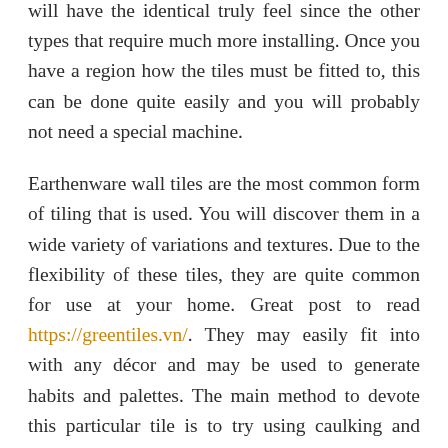will have the identical truly feel since the other types that require much more installing. Once you have a region how the tiles must be fitted to, this can be done quite easily and you will probably not need a special machine.
Earthenware wall tiles are the most common form of tiling that is used. You will discover them in a wide variety of variations and textures. Due to the flexibility of these tiles, they are quite common for use at your home. Great post to read https://greentiles.vn/. They may easily fit into with any décor and may be used to generate habits and palettes. The main method to devote this particular tile is to try using caulking and sticky like mortar. Usually do not use these over pre-existing tiles or onto